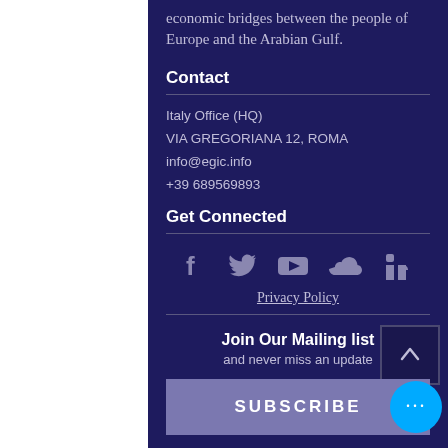economic bridges between the people of Europe and the Arabian Gulf.
Contact
Italy Office (HQ)
VIA GREGORIANA 12, ROMA
info@egic.info
+39 689569893
Get Connected
[Figure (illustration): Social media icons: Facebook, Twitter, YouTube, SoundCloud, LinkedIn]
Privacy Policy
Join Our Mailing list
and never miss an update
SUBSCRIBE